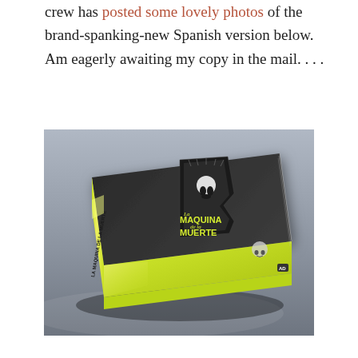crew has posted some lovely photos of the brand-spanking-new Spanish version below.  Am eagerly awaiting my copy in the mail. . . .
[Figure (photo): A 3D rendered photo of a book titled 'La Maquina de la Muerte' lying flat on a reflective gray surface. The book has a bright yellow-green spine and back, with a dark black-and-white illustrated cover showing gothic/horror imagery. The title is printed in bold yellow-green lettering on the black cover.]